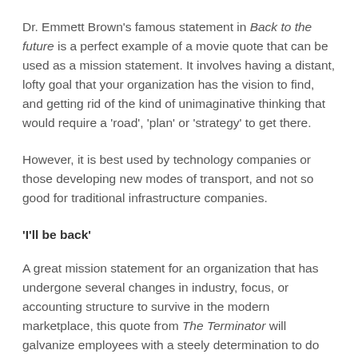Dr. Emmett Brown's famous statement in Back to the future is a perfect example of a movie quote that can be used as a mission statement. It involves having a distant, lofty goal that your organization has the vision to find, and getting rid of the kind of unimaginative thinking that would require a 'road', 'plan' or 'strategy' to get there.
However, it is best used by technology companies or those developing new modes of transport, and not so good for traditional infrastructure companies.
'I'll be back'
A great mission statement for an organization that has undergone several changes in industry, focus, or accounting structure to survive in the modern marketplace, this quote from The Terminator will galvanize employees with a steely determination to do whatever it takes to survive. It also has a ready-made follow-up to the film's